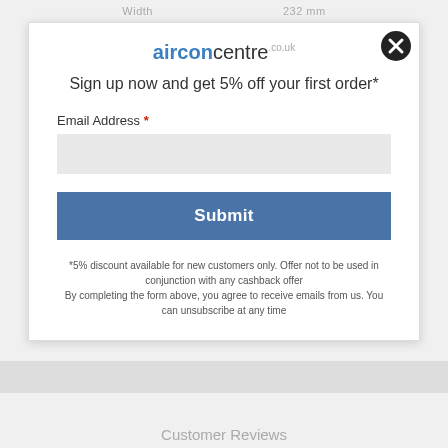Width    232 mm
[Figure (screenshot): Close button (X in black circle) at top right of modal]
airconcentre.co.uk
Sign up now and get 5% off your first order*
Email Address *
Submit
*5% discount available for new customers only. Offer not to be used in conjunction with any cashback offer
By completing the form above, you agree to receive emails from us. You can unsubscribe at any time
Customer Reviews